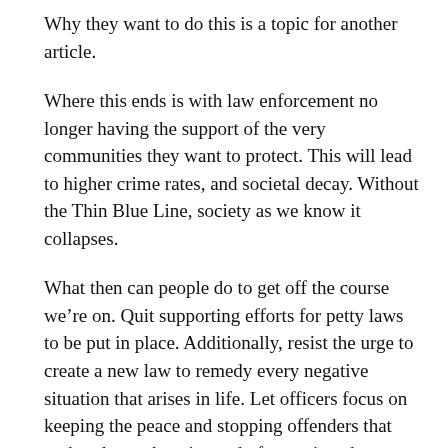Why they want to do this is a topic for another article.
Where this ends is with law enforcement no longer having the support of the very communities they want to protect. This will lead to higher crime rates, and societal decay. Without the Thin Blue Line, society as we know it collapses.
What then can people do to get off the course we’re on. Quit supporting efforts for petty laws to be put in place. Additionally, resist the urge to create a new law to remedy every negative situation that arises in life. Let officers focus on keeping the peace and stopping offenders that seek to hurt others instead of worrying about petty “crimes.”